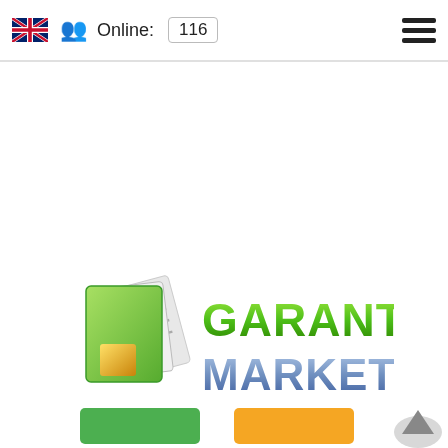Online: 116
[Figure (logo): GarantMarket logo with stylized green and gold page/document icon and green gradient text reading GARANT MARKET]
[Figure (other): Green button (left) and orange button (right) at bottom of page, partially visible]